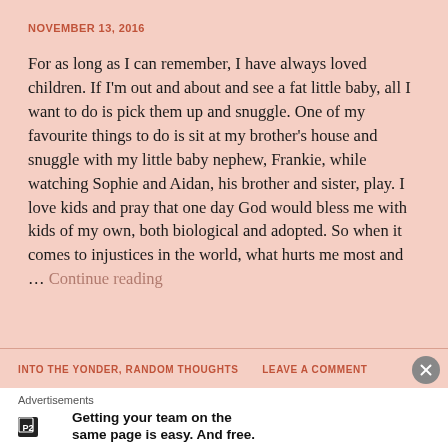NOVEMBER 13, 2016
For as long as I can remember, I have always loved children. If I'm out and about and see a fat little baby, all I want to do is pick them up and snuggle. One of my favourite things to do is sit at my brother's house and snuggle with my little baby nephew, Frankie, while watching Sophie and Aidan, his brother and sister, play. I love kids and pray that one day God would bless me with kids of my own, both biological and adopted. So when it comes to injustices in the world, what hurts me most and … Continue reading
INTO THE YONDER, RANDOM THOUGHTS     LEAVE A COMMENT
Advertisements
Getting your team on the same page is easy. And free.